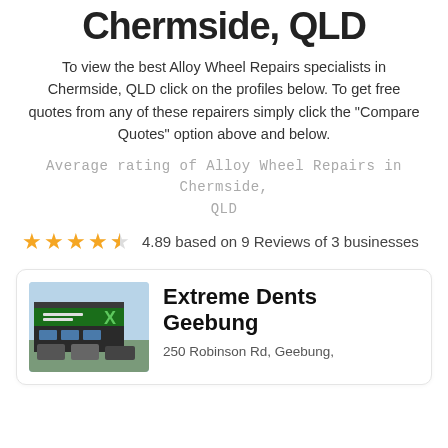Chermside, QLD
To view the best Alloy Wheel Repairs specialists in Chermside, QLD click on the profiles below. To get free quotes from any of these repairers simply click the "Compare Quotes" option above and below.
Average rating of Alloy Wheel Repairs in Chermside, QLD
4.89 based on 9 Reviews of 3 businesses
[Figure (other): Photo of Extreme Dents Geebung business exterior with green signage and X logo]
Extreme Dents Geebung
250 Robinson Rd, Geebung,